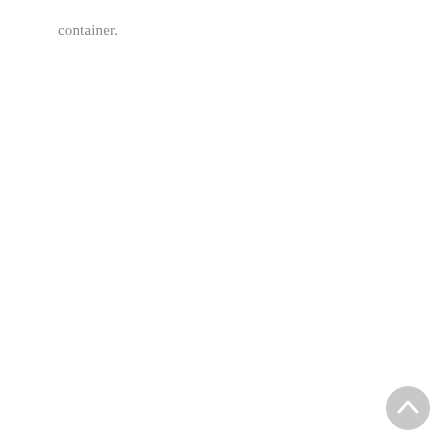container.
[Figure (other): Circular scroll-to-top button in light gray, positioned at bottom right corner of the page, containing an upward-pointing chevron/arrow icon.]